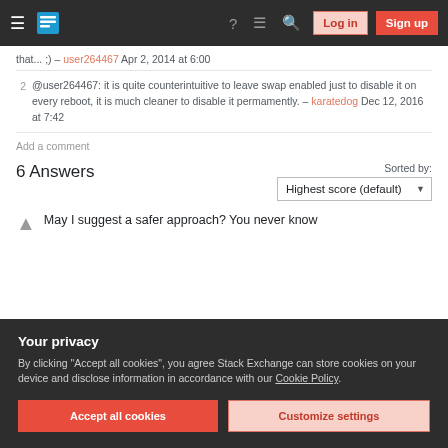Stack Exchange navigation bar with Log in and Sign up buttons
that... ;) – user264467 Apr 2, 2014 at 6:00
2  @user264467: it is quite counterintuitive to leave swap enabled just to disable it on every reboot, it is much cleaner to disable it permamently. – karatedog Dec 12, 2016 at 7:42
Add a comment
6 Answers
Sorted by: Highest score (default)
May I suggest a safer approach? You never know
Your privacy
By clicking "Accept all cookies", you agree Stack Exchange can store cookies on your device and disclose information in accordance with our Cookie Policy.
Accept all cookies  Customize settings